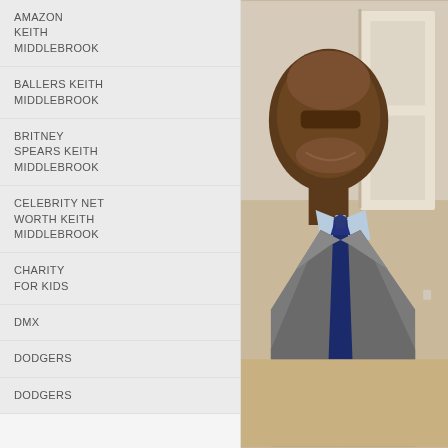AMAZON KEITH MIDDLEBROOK
BALLERS KEITH MIDDLEBROOK
BRITNEY SPEARS KEITH MIDDLEBROOK
CELEBRITY NET WORTH KEITH MIDDLEBROOK
CHARITY FOR KIDS
DMX
DODGERS
DODGERS
[Figure (photo): Portrait photo of Keith Middlebrook, a man in a grey suit with a blue tie, smiling, photographed from the chest up against a light indoor background with a door visible.]